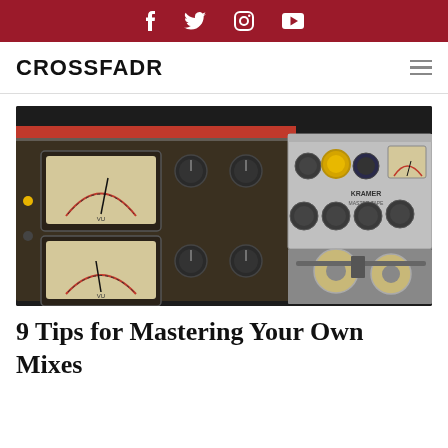Social media icons: Facebook, Twitter, Instagram, YouTube
CROSSFADR
[Figure (photo): Close-up photo of vintage/retro audio mixing and mastering hardware equipment including VU meters, knobs, and reel-to-reel tape machine components. Left side shows dark brownish unit with two large VU meters and multiple knobs. Right side shows silver Kramer Master unit with additional controls.]
9 Tips for Mastering Your Own Mixes